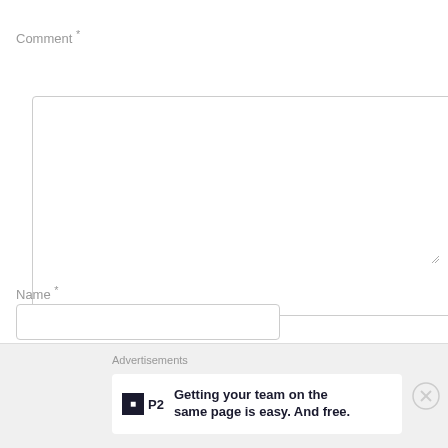Comment *
[Figure (screenshot): Comment text area input box, empty, with resize handle at bottom-right]
Name *
[Figure (screenshot): Name text input field, empty]
Email *
[Figure (screenshot): Email text input field, empty]
Advertisements
[Figure (screenshot): P2 advertisement banner: Getting your team on the same page is easy. And free.]